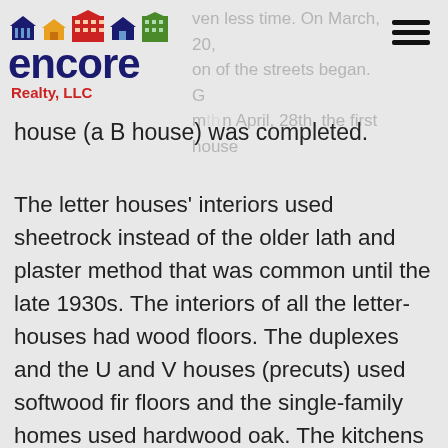[Figure (logo): Encore Realty LLC logo with colorful house icons above the wordmark]
ven less time. On March, 20, on of the streets began. m th April, 28th, the first house
house (a B house) was completed.
The letter houses' interiors used sheetrock instead of the older lath and plaster method that was common until the late 1930s. The interiors of all the letter-houses had wood floors. The duplexes and the U and V houses (precuts) used softwood fir floors and the single-family homes used hardwood oak. The kitchens and bathrooms had real linoleum flooring (pressed cork processed with linseed oil). Interior decorative features include cornice details along with molding strips